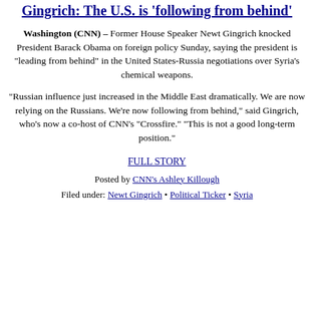Gingrich: The U.S. is 'following from behind'
Washington (CNN) – Former House Speaker Newt Gingrich knocked President Barack Obama on foreign policy Sunday, saying the president is "leading from behind" in the United States-Russia negotiations over Syria's chemical weapons.
"Russian influence just increased in the Middle East dramatically. We are now relying on the Russians. We're now following from behind," said Gingrich, who's now a co-host of CNN's "Crossfire." "This is not a good long-term position."
FULL STORY
Posted by CNN's Ashley Killough
Filed under: Newt Gingrich • Political Ticker • Syria